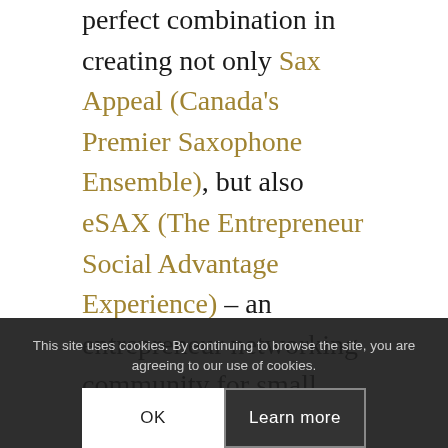perfect combination in creating not only Sax Appeal (Canada's Premier Saxophone Ensemble), but also eSAX (The Entrepreneur Social Advantage Experience) – an entrepreneur networking community for small business.
In addition, Jarrod hosts eXclusive eXperience; a monthly networking opportunity for senior executives.
As another way to help encourage, promote and offer greater assistance to aspiring entrepreneurs, Jarrod also hosts a regular YouTube video series titled Ask the Fedora (subscribe now to learn about how to make YOUR networking work!)
Jarrod is an extremely enthusiastic and dedicated communicator and in-demand available for pubic speaking engagements and
This site uses cookies. By continuing to browse the site, you are agreeing to our use of cookies.